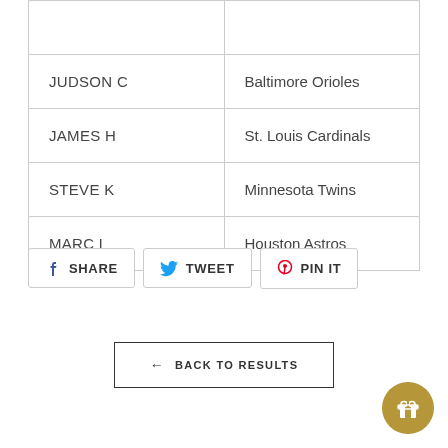| JUDSON C | Baltimore Orioles |
| JAMES H | St. Louis Cardinals |
| STEVE K | Minnesota Twins |
| MARC L | Houston Astros |
SHARE  TWEET  PIN IT
← BACK TO RESULTS